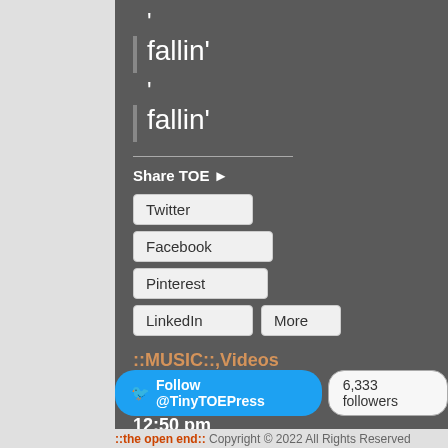', fallin'
', fallin'
Share TOE ►
Twitter
Facebook
Pinterest
LinkedIn
More
::MUSIC::,Videos & Lyrics
March 8, 2010
12:50 pm
Follow @TinyTOEPress   6,333 followers
::the open end:: Copyright © 2022 All Rights Reserved